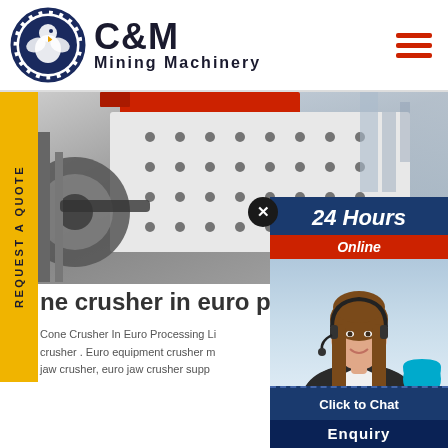[Figure (logo): C&M Mining Machinery logo with eagle emblem in dark blue circular gear design]
[Figure (photo): Industrial mining crusher machinery in a processing facility, black and white tones with red components at top]
[Figure (photo): 24 Hours Online customer service chat popup with female agent wearing headset, blue background]
ne crusher in euro pro
Cone Crusher In Euro Processing Li... crusher . Euro equipment crusher m... jaw crusher, euro jaw crusher supp...